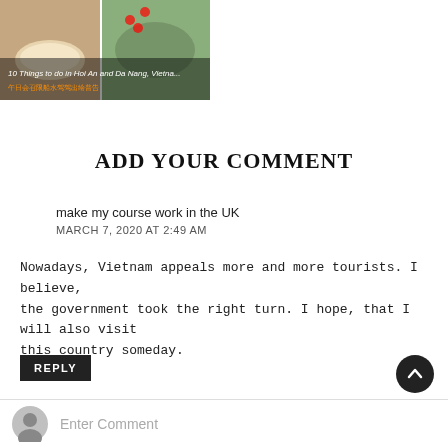[Figure (photo): Thumbnail image of food items and travel content related to Vietnam/Da Nang, with overlaid text in English and Chinese characters]
ADD YOUR COMMENT
make my course work in the UK
MARCH 7, 2020 AT 2:49 AM
Nowadays, Vietnam appeals more and more tourists. I believe, the government took the right turn. I hope, that I will also visit this country someday.
REPLY
[Figure (infographic): Scroll-to-top button (dark circle with upward arrow)]
Enter Comment